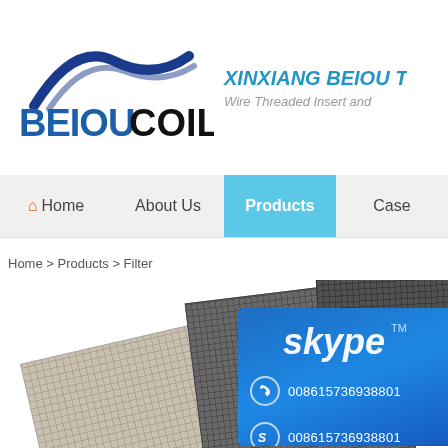[Figure (logo): BEIOUCOIL logo with blue arc symbol and company name in bold blue and black text]
XINXIANG BEIOU T
Wire Threaded Insert and
Home | About Us | Products | Case
Home > Products > Filter
[Figure (photo): Three stainless steel mesh/filter sheets overlapping - one light grey/beige, one dark grey, one very dark grey. Product display photo.]
[Figure (screenshot): Skype contact panel overlay with Skype logo and two contact numbers: 008615736938801]